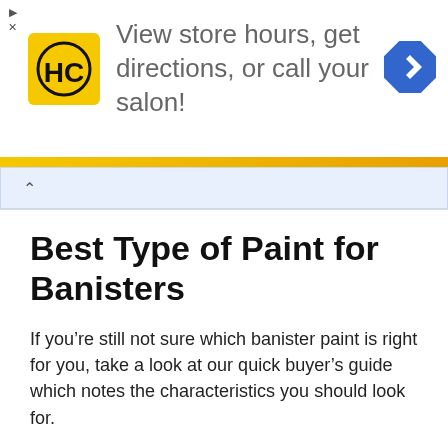[Figure (other): Advertisement banner for a salon with HC logo, text 'View store hours, get directions, or call your salon!', a blue navigation arrow icon, orange bar, and blue-tinted bottom bar with collapse chevron.]
Best Type of Paint for Banisters
If you’re still not sure which banister paint is right for you, take a look at our quick buyer’s guide which notes the characteristics you should look for.
Durability
This is perhaps the most important thing to consider when you’re painting your